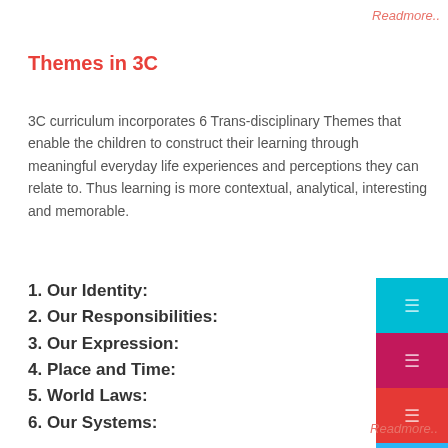Readmore..
Themes in 3C
3C curriculum incorporates 6 Trans-disciplinary Themes that enable the children to construct their learning through meaningful everyday life experiences and perceptions they can relate to. Thus learning is more contextual, analytical, interesting and memorable.
1. Our Identity:
2. Our Responsibilities:
3. Our Expression:
4. Place and Time:
5. World Laws:
6. Our Systems:
Readmore..